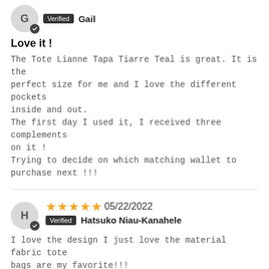G — Verified Gail
Love it !
The Tote Lianne Tapa Tiarre Teal is great. It is the perfect size for me and I love the different pockets inside and out.
The first day I used it, I received three complements on it !
Trying to decide on which matching wallet to purchase next !!!
H — ★★★★★ 05/22/2022 — Verified Hatsuko Niau-Kanahele
I love the design I just love the material fabric tote bags are my favorite!!!
P — ★★★★★ 04/25/2022 — Verified Pualani
Please make a matching luggage set
I love this print design. Please make a matching